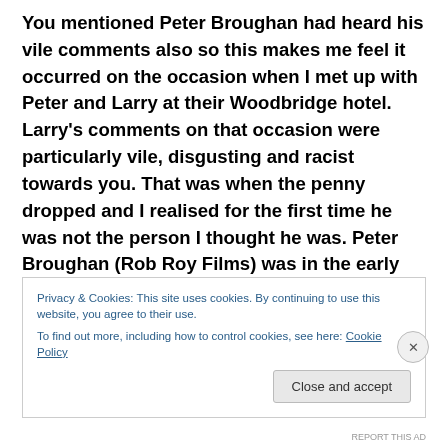You mentioned Peter Broughan had heard his vile comments also so this makes me feel it occurred on the occasion when I met up with Peter and Larry at their Woodbridge hotel. Larry's comments on that occasion were particularly vile, disgusting and racist towards you. That was when the penny dropped and I realised for the first time he was not the person I thought he was. Peter Broughan (Rob Roy Films) was in the early stages of a film project based on LAEG .Larry and Peter were in Woodbridge on a recce* for
Privacy & Cookies: This site uses cookies. By continuing to use this website, you agree to their use.
To find out more, including how to control cookies, see here: Cookie Policy
Close and accept
REPORT THIS AD